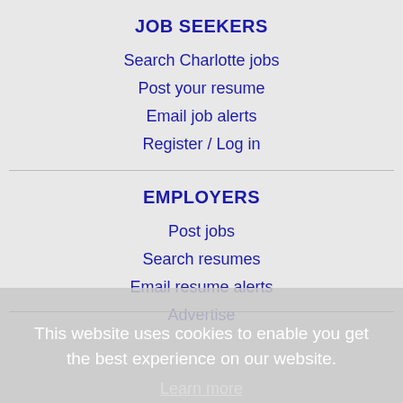JOB SEEKERS
Search Charlotte jobs
Post your resume
Email job alerts
Register / Log in
EMPLOYERS
Post jobs
Search resumes
Email resume alerts
Advertise
This website uses cookies to enable you get the best experience on our website.
Learn more
Got it!
IMMIGRATION SPECIALISTS
Post jobs
Immigration FAQs